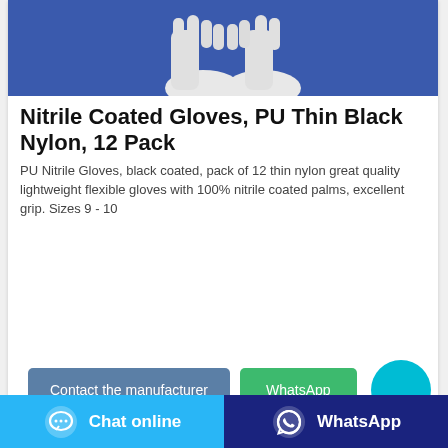[Figure (photo): Product photo of white nitrile coated gloves laid flat on a blue background]
Nitrile Coated Gloves, PU Thin Black Nylon, 12 Pack
PU Nitrile Gloves, black coated, pack of 12 thin nylon great quality lightweight flexible gloves with 100% nitrile coated palms, excellent grip. Sizes 9 - 10
Contact the manufacturer
WhatsApp
Chat online
WhatsApp